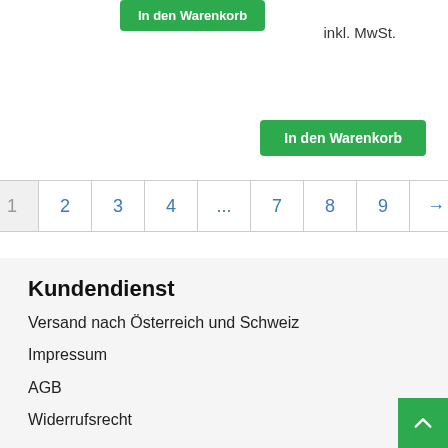In den Warenkorb
inkl. MwSt.
In den Warenkorb
1 2 3 4 ... 7 8 9 →
Kundendienst
Versand nach Österreich und Schweiz
Impressum
AGB
Widerrufsrecht